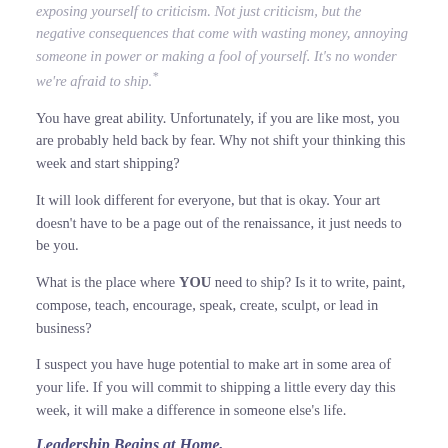exposing yourself to criticism. Not just criticism, but the negative consequences that come with wasting money, annoying someone in power or making a fool of yourself. It's no wonder we're afraid to ship.*
You have great ability. Unfortunately, if you are like most, you are probably held back by fear. Why not shift your thinking this week and start shipping?
It will look different for everyone, but that is okay. Your art doesn't have to be a page out of the renaissance, it just needs to be you.
What is the place where YOU need to ship? Is it to write, paint, compose, teach, encourage, speak, create, sculpt, or lead in business?
I suspect you have huge potential to make art in some area of your life. If you will commit to shipping a little every day this week, it will make a difference in someone else's life.
Leadership Begins at Home,
Randy,